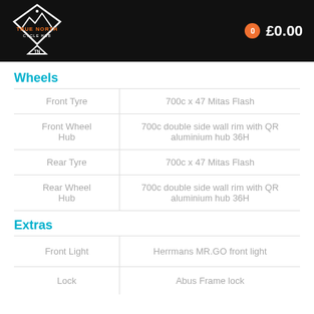[Figure (logo): True North Cycle Hub diamond logo in white on black header, with TN initials below]
0  £0.00
Wheels
|  |  |
| --- | --- |
| Front Tyre | 700c x 47 Mitas Flash |
| Front Wheel Hub | 700c double side wall rim with QR aluminium hub 36H |
| Rear Tyre | 700c x 47 Mitas Flash |
| Rear Wheel Hub | 700c double side wall rim with QR aluminium hub 36H |
Extras
|  |  |
| --- | --- |
| Front Light | Herrmans MR.GO front light |
| Lock | Abus Frame lock |